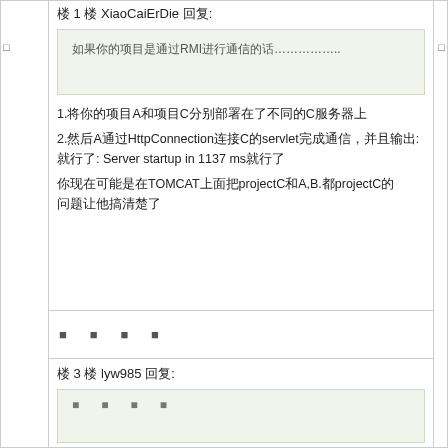楼 1 楼 XiaoCaiErDie 回复:
如果你的项目是通过RMI进行通信的话……………..
1.将你的项目A和项目C分别部署在了不同的C服务器上
2.然后A通过HttpConnection连接C的servlet完成通信，并且输出: Server startup in 1137 ms就行了
你现在可能是在TOMCAT上面把projectC和A,B.都projectC的问题让他搞清楚了
■ ■ ■ ■
楼 3 楼 lyw985 回复:
■ ■ ■ ■